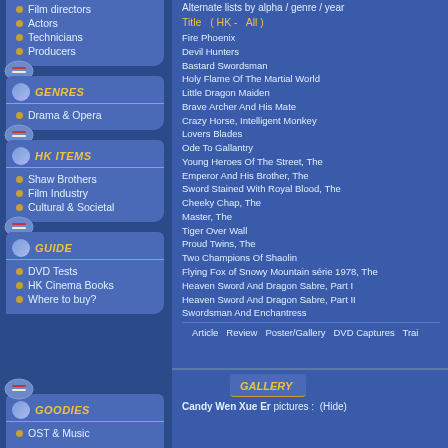Film directors
Actors
Technicians
Producers
GENRES
Drama & Opera
HK ITEMS
Shaw Brothers
Film Industry
Cultural & Societal
GUIDE
DVD Tests
HK Cinema Books
Where to buy?
GOODIES
OST & Music
Alternate lists by alpha / genre / year
Title  ( HK -  All )
Fire Phoenix
Devil Hunters
Bastard Swordsman
Holy Flame Of The Martial World
Little Dragon Maiden
Brave Archer And His Mate
Crazy Horse, Intelligent Monkey
Lovers Blades
Ode To Gallantry
Young Heroes Of The Street, The
Emperor And His Brother, The
Sword Stained With Royal Blood, The
Cheeky Chap, The
Master, The
Tiger Over Wall
Proud Twins, The
Two Champions Of Shaolin
Flying Fox of Snowy Mountain série 1978, The
Heaven Sword And Dragon Sabre, Part I
Heaven Sword And Dragon Sabre, Part II
Swordsman And Enchantress
Article  Review  Poster/Gallery  DVD Captures  Trai
GALLERY
Candy Wen Xue Er pictures :  (Hide)